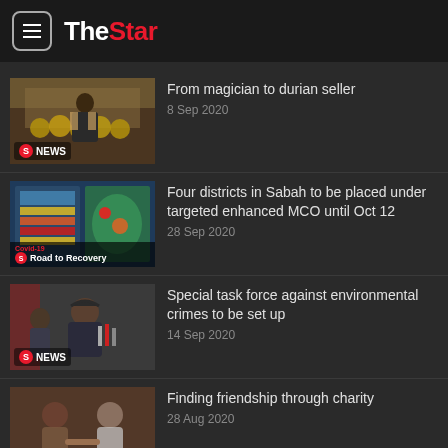TheStar
From magician to durian seller
8 Sep 2020
Four districts in Sabah to be placed under targeted enhanced MCO until Oct 12
28 Sep 2020
Special task force against environmental crimes to be set up
14 Sep 2020
Finding friendship through charity
28 Aug 2020
PM: Recovery MCO extended till Dec 31